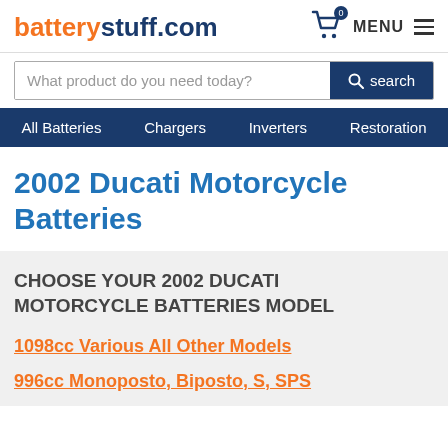batterystuff.com
What product do you need today?
All Batteries  Chargers  Inverters  Restoration
2002 Ducati Motorcycle Batteries
CHOOSE YOUR 2002 DUCATI MOTORCYCLE BATTERIES MODEL
1098cc Various All Other Models
996cc Monoposto, Biposto, S, SPS